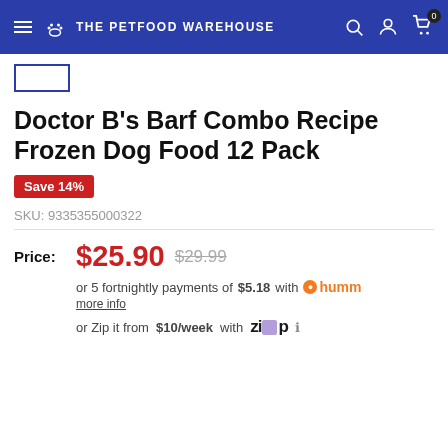THE PETFOOD WAREHOUSE
Doctor B's Barf Combo Recipe Frozen Dog Food 12 Pack
Save 14%
SKU: 9335355000322
Price: $25.90  $29.99
or 5 fortnightly payments of $5.18 with humm
more info
or Zip it from $10/week with Zip